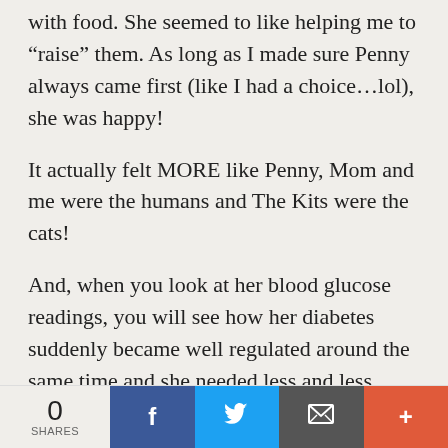with food. She seemed to like helping me to “raise” them. As long as I made sure Penny always came first (like I had a choice…lol), she was happy!
It actually felt MORE like Penny, Mom and me were the humans and The Kits were the cats!
And, when you look at her blood glucose readings, you will see how her diabetes suddenly became well regulated around the same time and she needed less and less insulin! That was a bonus that I honestly didn’t see coming!
0 SHARES | Facebook | Twitter | Email | More